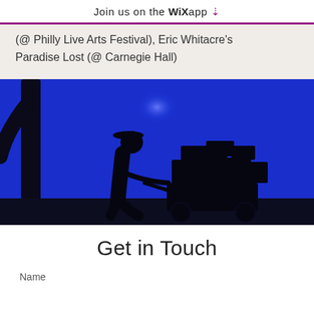Join us on the WiX app ⬇
(@ Philly Live Arts Festival), Eric Whitacre's Paradise Lost (@ Carnegie Hall)
[Figure (photo): Silhouette of a person pulling a cart loaded with boxes against a vivid blue background with a dark tree shape on the left]
Get in Touch
Name